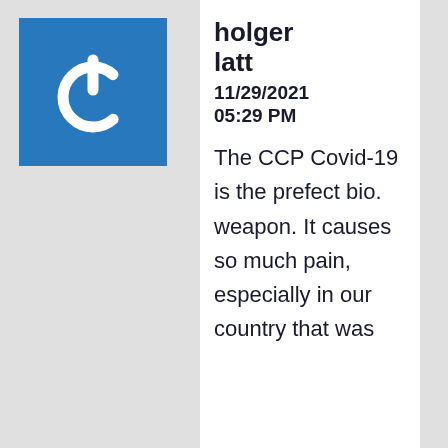[Figure (logo): Blue square with a white power button icon (circle with a gap at the top and a vertical line through the gap)]
holger latt
11/29/2021 05:29 PM
The CCP Covid-19 is the prefect bio. weapon. It causes so much pain, especially in our country that was